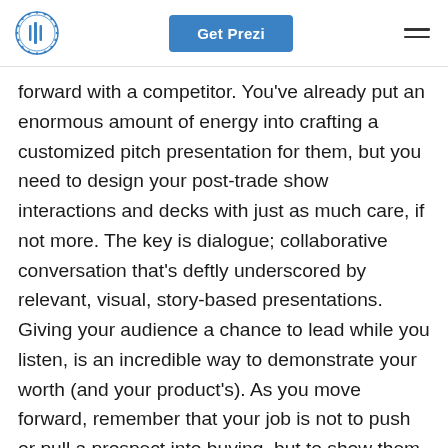Get Prezi
forward with a competitor. You've already put an enormous amount of energy into crafting a customized pitch presentation for them, but you need to design your post-trade show interactions and decks with just as much care, if not more. The key is dialogue; collaborative conversation that's deftly underscored by relevant, visual, story-based presentations. Giving your audience a chance to lead while you listen, is an incredible way to demonstrate your worth (and your product's). As you move forward, remember that your job is not to push or pull a prospect into buying, but to show them exactly